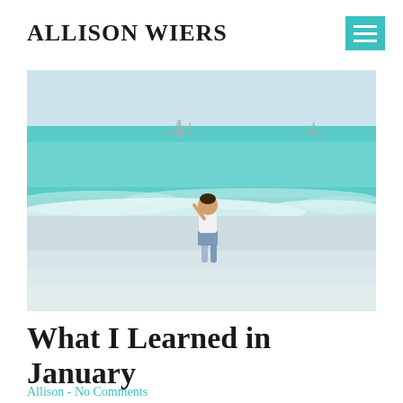ALLISON WIERS
[Figure (photo): Child running on a beach with turquoise ocean waves, sandy shoreline, ships visible on the horizon in background, hazy sky]
What I Learned in January
Allison - No Comments